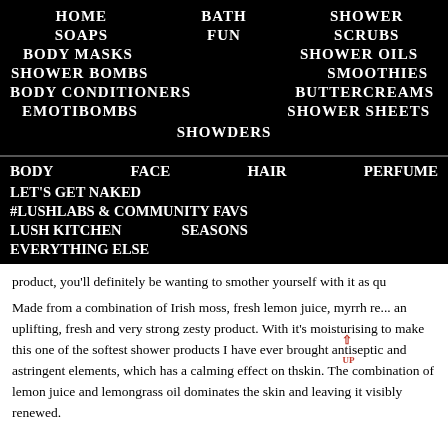HOME  BATH  SHOWER
SOAPS  FUN  SCRUBS
BODY MASKS  SHOWER OILS
SHOWER BOMBS  SMOOTHIES
BODY CONDITIONERS  BUTTERCREAMS
EMOTIBOMBS  SHOWER SHEETS
SHOWDERS
BODY  FACE  HAIR  PERFUME
LET'S GET NAKED
#LUSHLABS & COMMUNITY FAVS
LUSH KITCHEN  SEASONS
EVERYTHING ELSE
product, you'll definitely be wanting to smother yourself with it as qu
Made from a combination of Irish moss, fresh lemon juice, myrrh re... an uplifting, fresh and very strong zesty product. With it's moisturising... to make this one of the softest shower products I have ever brought antiseptic and astringent elements, which has a calming effect on th skin. The combination of lemon juice and lemongrass oil dominates the skin and leaving it visibly renewed.